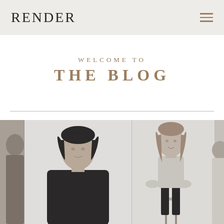RENDER
WELCOME TO
THE BLOG
[Figure (photo): Black and white photo strip showing multiple people posed; partially visible from left edge: a person, then a woman with dark hair in a black top, then a woman with long hair sitting on a stool, then a partially visible person at right edge.]